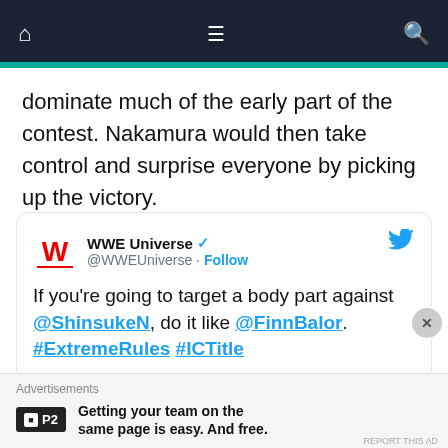Navigation bar with home, menu, and search icons
dominate much of the early part of the contest. Nakamura would then take control and surprise everyone by picking up the victory.
[Figure (screenshot): Embedded tweet from WWE Universe (@WWEUniverse) with verified badge and Follow button. Tweet text: 'If you're going to target a body part against @ShinsukeN, do it like @FinnBalor. #ExtremeRules #ICTitle'. Includes a video thumbnail with 'Watch on Twitter' button showing a wrestling match scene.]
Advertisements
[Figure (logo): P2 logo advertisement: Getting your team on the same page is easy. And free.]